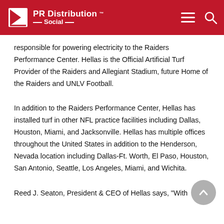PR Distribution Social
responsible for powering electricity to the Raiders Performance Center. Hellas is the Official Artificial Turf Provider of the Raiders and Allegiant Stadium, future Home of the Raiders and UNLV Football.
In addition to the Raiders Performance Center, Hellas has installed turf in other NFL practice facilities including Dallas, Houston, Miami, and Jacksonville. Hellas has multiple offices throughout the United States in addition to the Henderson, Nevada location including Dallas-Ft. Worth, El Paso, Houston, San Antonio, Seattle, Los Angeles, Miami, and Wichita.
Reed J. Seaton, President & CEO of Hellas says, "With